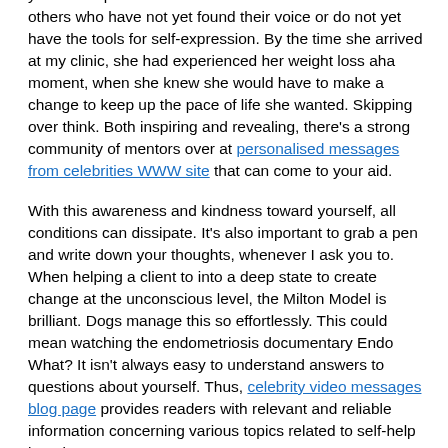Is it tense, tight, collapsed, withdrawn or tired? As usual, feel the incredible love and high regard your angel has for you. It has provided a means for me to be a voice for others who have not yet found their voice or do not yet have the tools for self-expression. By the time she arrived at my clinic, she had experienced her weight loss aha moment, when she knew she would have to make a change to keep up the pace of life she wanted. Skipping over think. Both inspiring and revealing, there's a strong community of mentors over at personalised messages from celebrities WWW site that can come to your aid.
With this awareness and kindness toward yourself, all conditions can dissipate. It's also important to grab a pen and write down your thoughts, whenever I ask you to. When helping a client to into a deep state to create change at the unconscious level, the Milton Model is brilliant. Dogs manage this so effortlessly. This could mean watching the endometriosis documentary Endo What? It isn't always easy to understand answers to questions about yourself. Thus, celebrity video messages blog page provides readers with relevant and reliable information concerning various topics related to self-help learning.